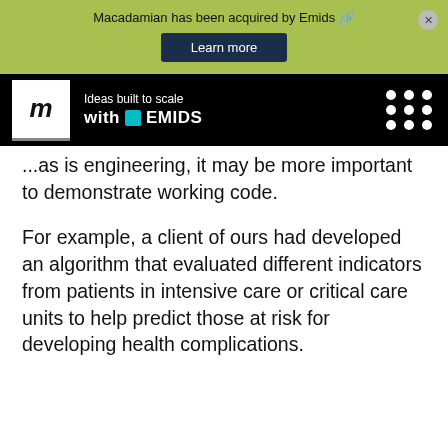Macadamian has been acquired by Emids 🔗
[Figure (logo): Emids logo with tagline 'Ideas built to scale with EMIDS' on black navbar background]
...as is engineering, it may be more important to demonstrate working code.
For example, a client of ours had developed an algorithm that evaluated different indicators from patients in intensive care or critical care units to help predict those at risk for developing health complications.